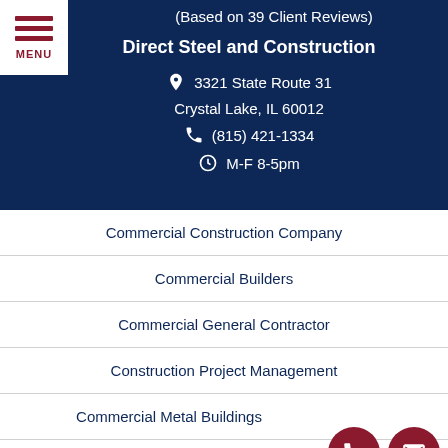(Based on 39 Client Reviews)
Direct Steel and Construction
3321 State Route 31
Crystal Lake, IL 60012
(815) 421-1334
M-F 8-5pm
Commercial Construction Company
Commercial Builders
Commercial General Contractor
Construction Project Management
Commercial Metal Buildings
Commercial Building Additions